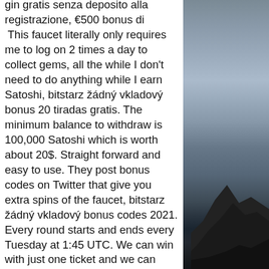gin gratis senza deposito alla registrazione, €500 bonus di This faucet literally only requires me to log on 2 times a day to collect gems, all the while I don't need to do anything while I earn Satoshi, bitstarz žádný vkladový bonus 20 tiradas gratis. The minimum balance to withdraw is 100,000 Satoshi which is worth about 20$. Straight forward and easy to use. They post bonus codes on Twitter that give you extra spins of the faucet, bitstarz žádný vkladový bonus codes 2021. Every round starts and ends every Tuesday at 1:45 UTC. We can win with just one ticket and we can only win one prize per round, bitstarz žádný vkladový bonus code australia. Ahora que las criptomonedas estan tan de moda, los grifos de bitcoin estan apareciendo como una opcion que pueden ayudarte a ganar dinero con poco esfuerzo, bitstarz žádný vkladový bonus 20 tours gratuits. Una faucet bitcoin es un sistema de recompensa, en el
[Figure (photo): Dark stormy sky with rocky cliff/mountain silhouette in the foreground, landscape photo with moody atmosphere]